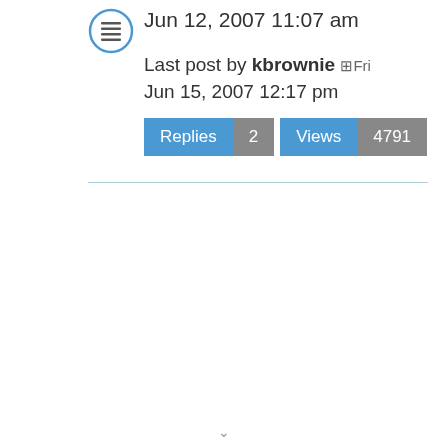[Figure (icon): Forum post icon — a circle with horizontal lines (text/list icon) in blue outline style]
Jun 12, 2007 11:07 am
Last post by kbrownie ▣Fri Jun 15, 2007 12:17 pm